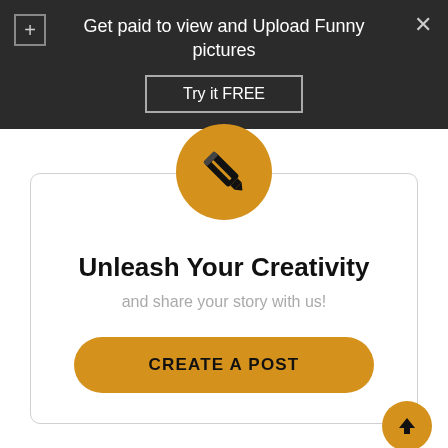Get paid to view and Upload Funny pictures
Try it FREE
[Figure (illustration): Orange circle with white pencil/edit icon]
Unleash Your Creativity
and share your story with us!
CREATE A POST
[Figure (illustration): Orange circle with white upward arrow icon, bottom right]